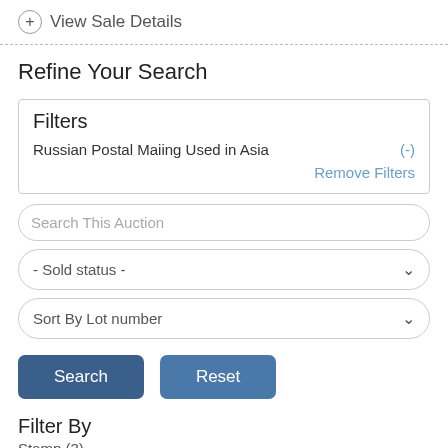+ View Sale Details
Refine Your Search
Filters
Russian Postal Maiing Used in Asia (-)
Remove Filters
Search This Auction
- Sold status -
Sort By Lot number
Search
Reset
Filter By
Stamp (3)